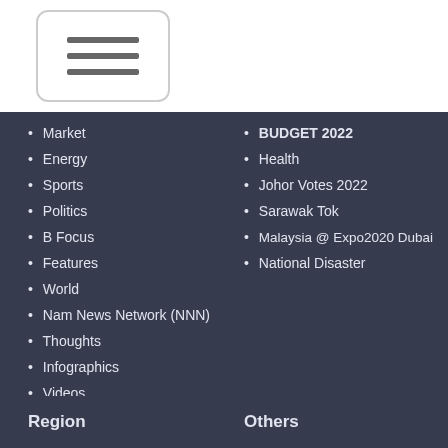[Figure (other): Hamburger menu button icon with three horizontal lines inside a rounded rectangle border]
• Market
• Energy
• Sports
• Politics
• B Focus
• Features
• World
• Nam News Network (NNN)
• Thoughts
• Infographics
• Videos
• Images
• Exclusive Press
• Archived
• BUDGET 2022
• Health
• Johor Votes 2022
• Sarawak Tok
• Malaysia @ Expo2020 Dubai
• National Disaster
Region
Others